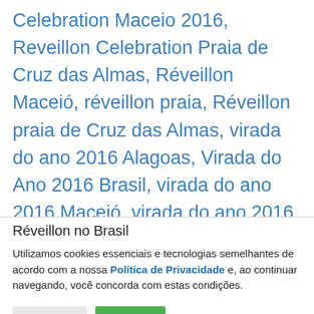Celebration Maceio 2016, Reveillon Celebration Praia de Cruz das Almas, Réveillon Maceió, réveillon praia, Réveillon praia de Cruz das Almas, virada do ano 2016 Alagoas, Virada do Ano 2016 Brasil, virada do ano 2016 Maceió, virada do ano 2016 praia, virada do ano 2016 praia de Cruz das Almas, Virada do Ano Alagoas, Virada do Ano
Réveillon no Brasil
Utilizamos cookies essenciais e tecnologias semelhantes de acordo com a nossa Política de Privacidade e, ao continuar navegando, você concorda com estas condições.
Cookies | Aceito